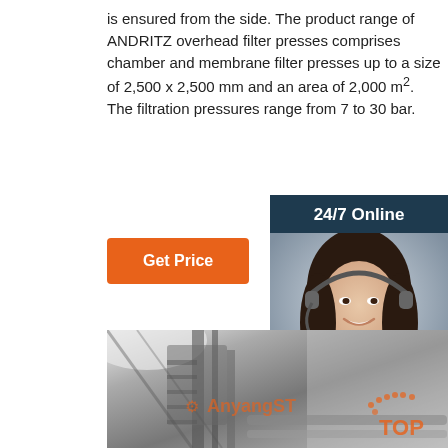is ensured from the side. The product range of ANDRITZ overhead filter presses comprises chamber and membrane filter presses up to a size of 2,500 x 2,500 mm and an area of 2,000 m². The filtration pressures range from 7 to 30 bar.
Get Price
24/7 Online
[Figure (photo): Woman with headset smiling, customer service representative]
Click here for free chat !
QUOTATION
[Figure (photo): Industrial overhead filter press machinery in black and white, with AnyangST watermark and TOP badge]